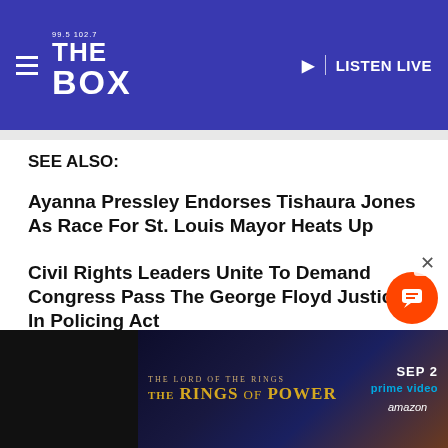99.5 102.7 THE BOX | LISTEN LIVE
SEE ALSO:
Ayanna Pressley Endorses Tishaura Jones As Race For St. Louis Mayor Heats Up
Civil Rights Leaders Unite To Demand Congress Pass The George Floyd Justice In Policing Act
Rest In Power Haroun Wakil: Atlanta Activist Who Promoted Community Policing Dies  was originally published on newsone.com
[Figure (other): Advertisement banner for The Lord of the Rings: The Rings of Power on Prime Video, SEP 2]